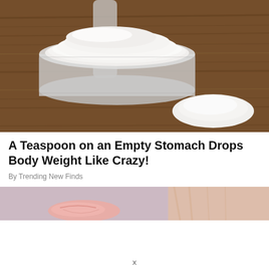[Figure (photo): A measuring scoop filled with white powder (protein powder or similar supplement) resting on a wooden surface, with a small pile of powder spilled beside it.]
A Teaspoon on an Empty Stomach Drops Body Weight Like Crazy!
By Trending New Finds
[Figure (photo): Close-up partial image of a person's face showing lips and hand touching cheek, on a light purple/lavender background.]